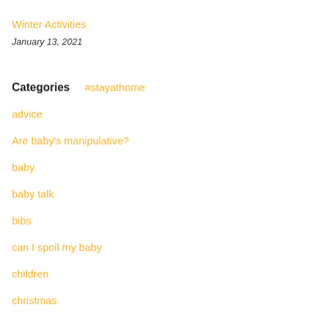Winter Activities
January 13, 2021
Categories
#stayathome
advice
Are baby's manipulative?
baby
baby talk
bibs
can I spoil my baby
children
christmas
christmas ideas